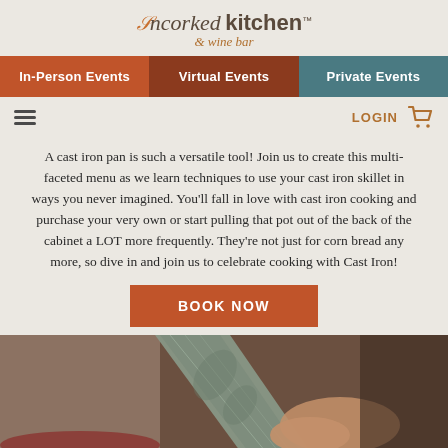[Figure (logo): Uncorked Kitchen & wine bar logo with decorative curl]
In-Person Events | Virtual Events | Private Events
A cast iron pan is such a versatile tool! Join us to create this multi-faceted menu as we learn techniques to use your cast iron skillet in ways you never imagined. You'll fall in love with cast iron cooking and purchase your very own or start pulling that pot out of the back of the cabinet a LOT more frequently. They're not just for corn bread any more, so dive in and join us to celebrate cooking with Cast Iron!
BOOK NOW
[Figure (photo): Close-up of a hand holding a knife blade]